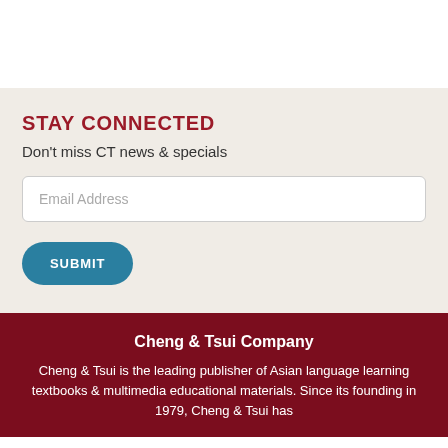STAY CONNECTED
Don't miss CT news & specials
Email Address
SUBMIT
Cheng & Tsui Company
Cheng & Tsui is the leading publisher of Asian language learning textbooks & multimedia educational materials. Since its founding in 1979, Cheng & Tsui has